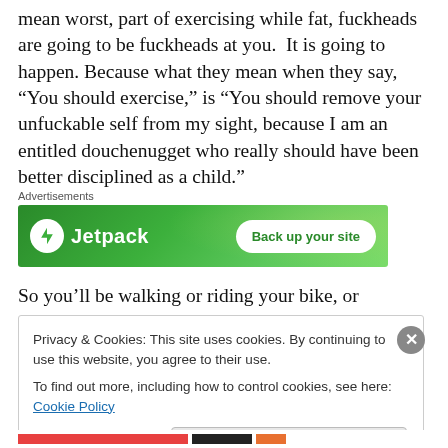mean worst, part of exercising while fat, fuckheads are going to be fuckheads at you. It is going to happen. Because what they mean when they say, “You should exercise,” is “You should remove your unfuckable self from my sight, because I am an entitled douchenugget who really should have been better disciplined as a child.”
[Figure (other): Jetpack advertisement banner on green gradient background with logo and 'Back up your site' button]
So you’ll be walking or riding your bike, or whatever you
Privacy & Cookies: This site uses cookies. By continuing to use this website, you agree to their use.
To find out more, including how to control cookies, see here: Cookie Policy

Close and accept